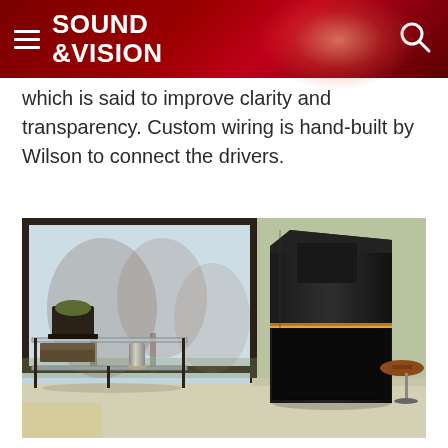SOUND &VISION
which is said to improve clarity and transparency. Custom wiring is hand-built by Wilson to connect the drivers.
[Figure (photo): A large black floor-standing Wilson loudspeaker positioned in a modern living room with large floor-to-ceiling windows, bare trees visible outside, a glass and metal side table with decorative objects, and beige carpet flooring.]